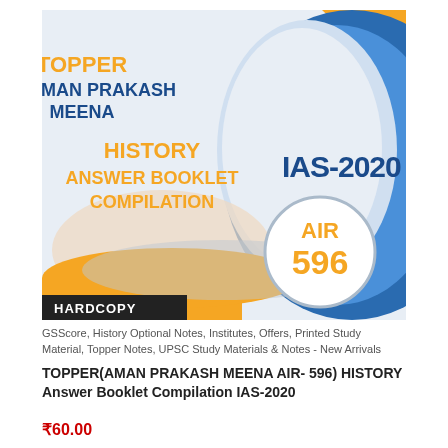[Figure (illustration): Book cover for 'Topper Aman Prakash Meena History Answer Booklet Compilation IAS-2020' showing AIR 596. Cover has blue, orange, white design with a circular badge showing AIR 596, and a HARDCOPY label at the bottom.]
GSScore, History Optional Notes, Institutes, Offers, Printed Study Material, Topper Notes, UPSC Study Materials & Notes - New Arrivals
TOPPER(AMAN PRAKASH MEENA AIR- 596) HISTORY Answer Booklet Compilation IAS-2020
₹60.00